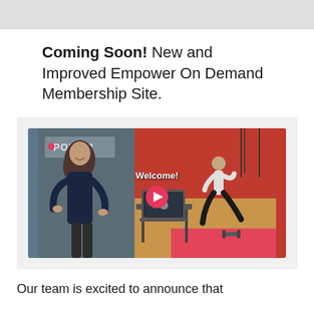Coming Soon! New and Improved Empower On Demand Membership Site.
[Figure (photo): Video thumbnail showing a smiling woman in a navy top standing in front of an EMPOWER sign on the left, and a person doing a lunge exercise in a gym with red walls on the right. A laptop sits on a table in the center. The text 'Welcome!' appears over the image with a red circular play button below it.]
Our team is excited to announce that